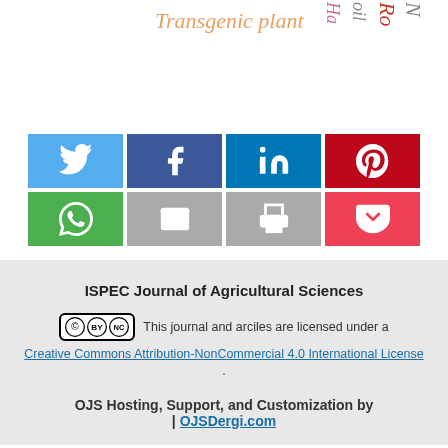[Figure (other): Word cloud tags: 'Transgenic plant' in orange italic, 'Ha' in pink vertical, 'oil' in gray vertical, 'Ro' in red vertical, 'N' in gray vertical]
[Figure (other): Social share buttons grid: Twitter (blue), Facebook (dark blue), LinkedIn (blue), Pinterest (red), WhatsApp (green), Email (gray), Print (gray), Pocket (red)]
ISPEC Journal of Agricultural Sciences
This journal and arciles are licensed under a Creative Commons Attribution-NonCommercial 4.0 International License.
OJS Hosting, Support, and Customization by | OJSDergi.com